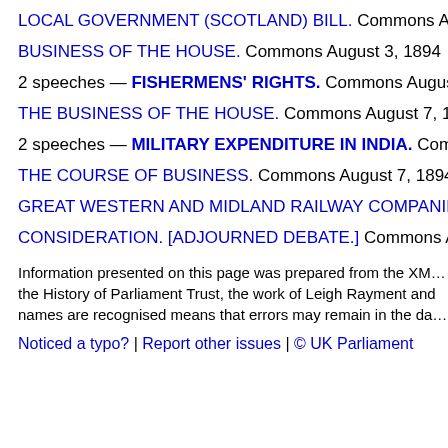LOCAL GOVERNMENT (SCOTLAND) BILL. Commons Augus…
BUSINESS OF THE HOUSE. Commons August 3, 1894
2 speeches — FISHERMENS' RIGHTS. Commons August 7, 1…
THE BUSINESS OF THE HOUSE. Commons August 7, 1894
2 speeches — MILITARY EXPENDITURE IN INDIA. Common…
THE COURSE OF BUSINESS. Commons August 7, 1894
GREAT WESTERN AND MIDLAND RAILWAY COMPANIES B…
CONSIDERATION. [ADJOURNED DEBATE.] Commons Augu…
Information presented on this page was prepared from the XM… the History of Parliament Trust, the work of Leigh Rayment and names are recognised means that errors may remain in the da…
Noticed a typo? | Report other issues | © UK Parliament